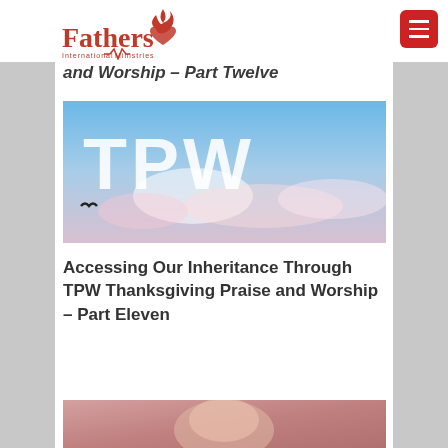Fathers Heart International Ministries
and Worship – Part Twelve
[Figure (photo): TPW letters on a sky background with clouds — Thanksgiving Praise and Worship image]
Accessing Our Inheritance Through TPW Thanksgiving Praise and Worship – Part Eleven
[Figure (photo): Partial image at bottom of page, cropped]